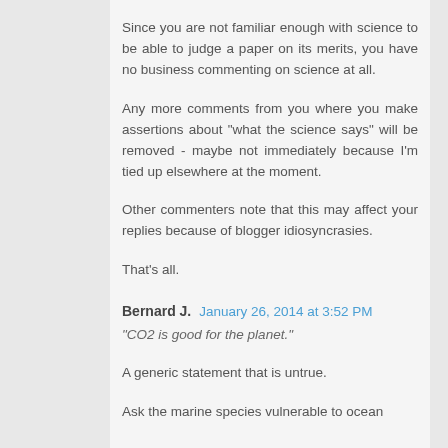Since you are not familiar enough with science to be able to judge a paper on its merits, you have no business commenting on science at all.
Any more comments from you where you make assertions about "what the science says" will be removed - maybe not immediately because I'm tied up elsewhere at the moment.
Other commenters note that this may affect your replies because of blogger idiosyncrasies.
That's all.
Bernard J.  January 26, 2014 at 3:52 PM
"CO2 is good for the planet."
A generic statement that is untrue.
Ask the marine species vulnerable to ocean acidification...